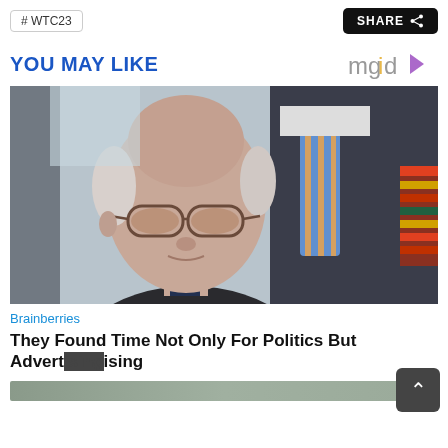# WTC23
SHARE
YOU MAY LIKE
[Figure (photo): Elderly man with white hair wearing sunglasses and dark jacket, with another man in blue striped tie and military medals visible in background]
Brainberries
They Found Time Not Only For Politics But Advertising